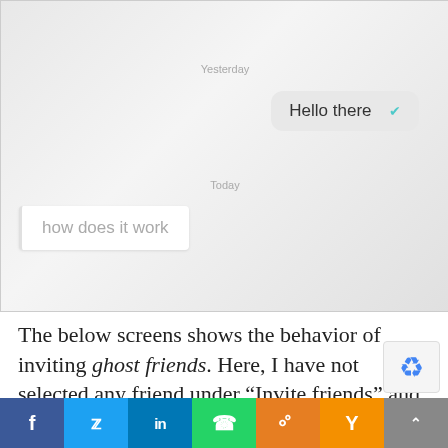[Figure (screenshot): Mobile messaging app screenshot showing a conversation. 'Yesterday' timestamp label, a sent message bubble 'Hello there' with a teal checkmark, 'Today' timestamp label, and a received message bubble 'how does it work' with a left border accent.]
The below screens shows the behavior of inviting ghost friends. Here, I have not selected any friend under “Invite friends” and if you click on the red area, the screen will pop up afterwards show
[Figure (infographic): Social media sharing bar with buttons: Facebook (blue), Twitter (light blue), LinkedIn (dark blue), WhatsApp (green), Copy link (orange), Yahoo (yellow-orange), More (gray with up arrow).]